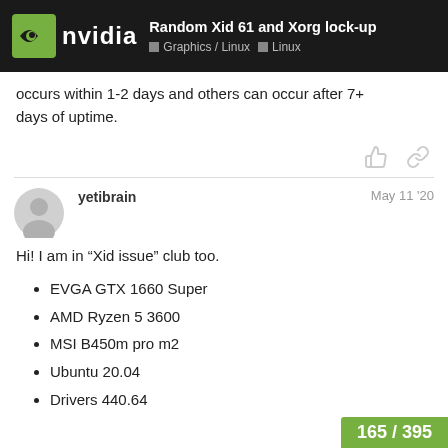Random Xid 61 and Xorg lock-up | Graphics / Linux | Linux
occurs within 1-2 days and others can occur after 7+ days of uptime.
yetibrain — May 11 '20
Hi! I am in “Xid issue” club too.
EVGA GTX 1660 Super
AMD Ryzen 5 3600
MSI B450m pro m2
Ubuntu 20.04
Drivers 440.64
165 / 395